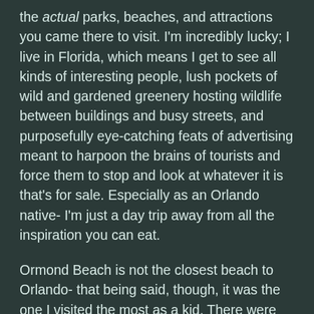the actual parks, beaches, and attractions you came there to visit. I'm incredibly lucky; I live in Florida, which means I get to see all kinds of interesting people, lush pockets of wild and gardened greenery hosting wildlife between buildings and busy streets, and purposefully eye-catching feats of advertising meant to harpoon the brains of tourists and force them to stop and look at whatever it is that's for sale. Especially as an Orlando native- I'm just a day trip away from all the inspiration you can eat.
Ormond Beach is not the closest beach to Orlando- that being said, though, it was the one I visited the most as a kid. There were times when we'd head up once or twice a week, after school or on the weekend for a just-because visit, or maybe to just grab some subs and eat a relaxed dinner on the sandy picnic tables at the Michael Crotty Bicentennial Park. It was a kind of stunning realization for me, to realize it'd been at least a couple of years since I'd